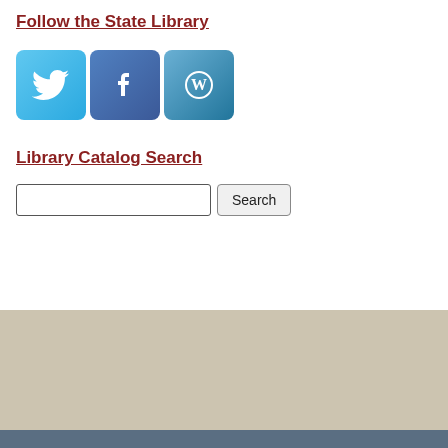Follow the State Library
[Figure (illustration): Three social media icons: Twitter (blue bird icon), Facebook (blue 'f' icon), WordPress (blue 'W' icon)]
Library Catalog Search
Search input box with Search button